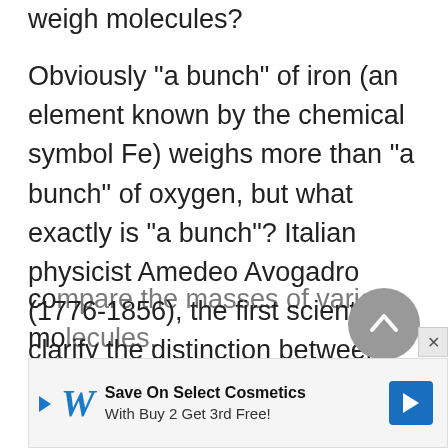weigh molecules?
Obviously "a bunch" of iron (an element known by the chemical symbol Fe) weighs more than "a bunch" of oxygen, but what exactly is "a bunch"? Italian physicist Amedeo Avogadro (1776-1856), the first scientist to clarify the distinction between atoms and molecules, created a unit that made it possible to compare the masses of various molecules.
[Figure (other): Gray circular back-to-top button with upward chevron arrow]
[Figure (other): Walgreens advertisement banner: Save On Select Cosmetics With Buy 2 Get 3rd Free!]